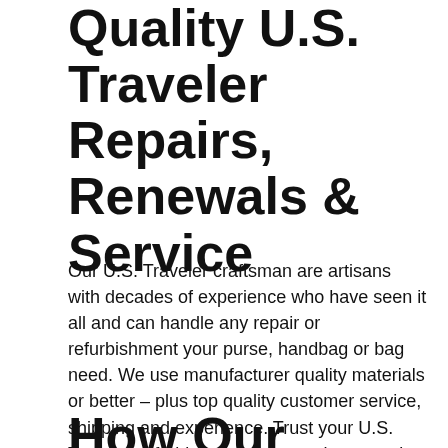Quality U.S. Traveler Repairs, Renewals & Service
Our U.S. Traveler craftsman are artisans with decades of experience who have seen it all and can handle any repair or refurbishment your purse, handbag or bag need. We use manufacturer quality materials or better – plus top quality customer service, shipping and experience. Trust your U.S. Traveler refurbishment to us and you won't be disappointed.
How Our Online